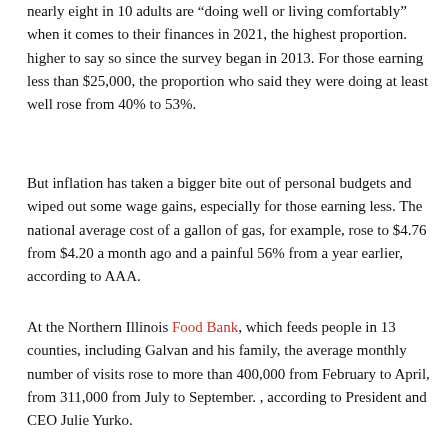nearly eight in 10 adults are “doing well or living comfortably” when it comes to their finances in 2021, the highest proportion. higher to say so since the survey began in 2013. For those earning less than $25,000, the proportion who said they were doing at least well rose from 40% to 53%.
But inflation has taken a bigger bite out of personal budgets and wiped out some wage gains, especially for those earning less. The national average cost of a gallon of gas, for example, rose to $4.76 from $4.20 a month ago and a painful 56% from a year earlier, according to AAA.
At the Northern Illinois Food Bank, which feeds people in 13 counties, including Galvan and his family, the average monthly number of visits rose to more than 400,000 from February to April, from 311,000 from July to September. , according to President and CEO Julie Yurko.